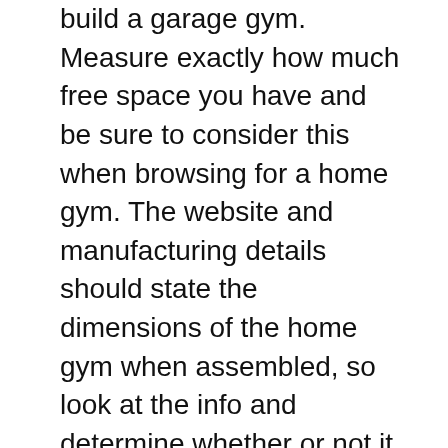build a garage gym. Measure exactly how much free space you have and be sure to consider this when browsing for a home gym. The website and manufacturing details should state the dimensions of the home gym when assembled, so look at the info and determine whether or not it will fit into the free space that you have. You will also need plenty of clearance around the gym, so make sure it won't be cramped and a tight fit.
Weight and resistance
Up next, you are going to have to consider the amount of pressure and resistance that the multi gym provides. If you're an experienced lifter, then lifting experience in weight...